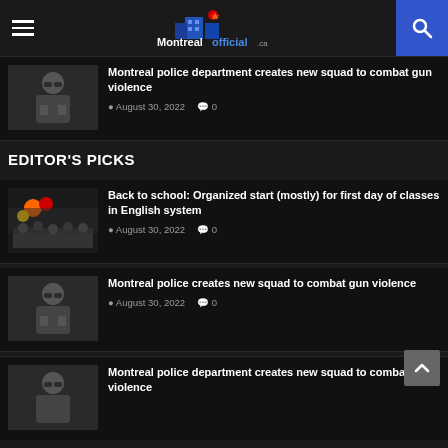Montrealofficial.ca navigation header with hamburger menu and search
Montreal police department creates new squad to combat gun violence | August 30, 2022 | 0
EDITOR'S PICKS
Back to school: Organized start (mostly) for first day of classes in English system | August 30, 2022 | 0
Montreal police creates new squad to combat gun violence | August 30, 2022 | 0
Montreal police department creates new squad to combat gun violence